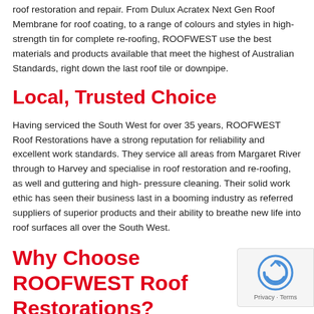roof restoration and repair. From Dulux Acratex Next Gen Roof Membrane for roof coating, to a range of colours and styles in high-strength tin for complete re-roofing, ROOFWEST use the best materials and products available that meet the highest of Australian Standards, right down the last roof tile or downpipe.
Local, Trusted Choice
Having serviced the South West for over 35 years, ROOFWEST Roof Restorations have a strong reputation for reliability and excellent work standards. They service all areas from Margaret River through to Harvey and specialise in roof restoration and re-roofing, as well and guttering and high- pressure cleaning. Their solid work ethic has seen their business last in a booming industry as referred suppliers of superior products and their ability to breathe new life into roof surfaces all over the South West.
Why Choose ROOFWEST Roof Restorations?